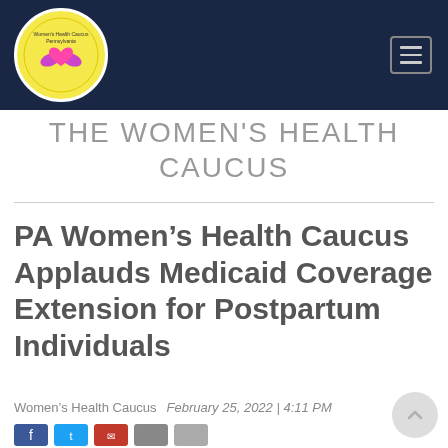THE WOMEN'S HEALTH CAUCUS
PA Women’s Health Caucus Applauds Medicaid Coverage Extension for Postpartum Individuals
Women’s Health Caucus   February 25, 2022 | 4:11 PM